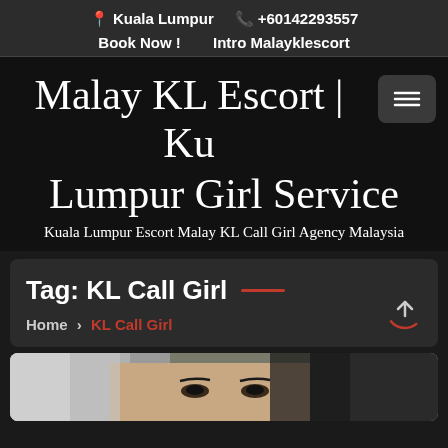📍 Kuala Lumpur   📞 +60142293557
Book Now !   Intro Malayklescort
Malay KL Escort | Kuala Lumpur Girl Service
Kuala Lumpur Escort Malay KL Call Girl Agency Malaysia
Tag: KL Call Girl
Home > KL Call Girl
[Figure (photo): Partial face of a young woman with silver/grey hair and dark eyes, cropped at bottom of page]